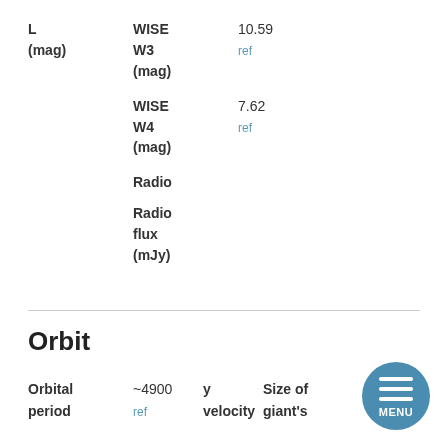L (mag)
WISE W3 (mag)
10.59
ref
WISE W4 (mag)
7.62
ref
Radio
Radio flux (mJy)
Orbit
Orbital period
~4900
ref
y velocity
Size of giant's